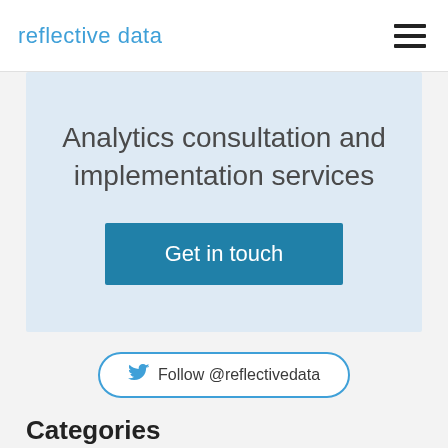reflective data
Analytics consultation and implementation services
Get in touch
Follow @reflectivedata
Categories
A/B testing (11)